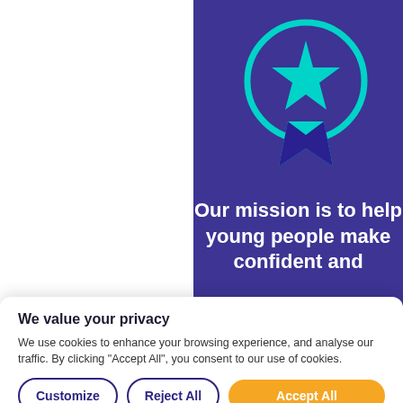[Figure (illustration): Cyan award/medal ribbon icon on dark purple background]
Our mission is to help young people make confident and
We value your privacy
We use cookies to enhance your browsing experience, and analyse our traffic. By clicking "Accept All", you consent to our use of cookies.
Customize | Reject All | Accept All